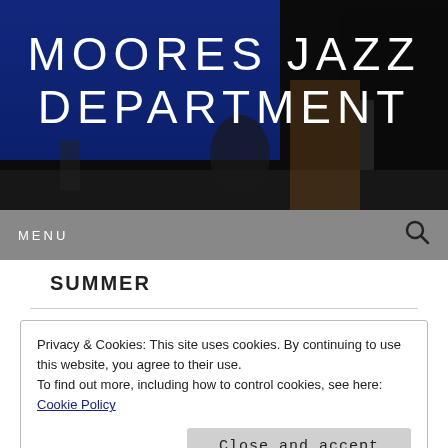[Figure (photo): Dark stage photo of musicians performing, blue screen in background, used as hero banner for Moores Jazz Department website]
MOORES JAZZ DEPARTMENT
MENU
SUMMER
Privacy & Cookies: This site uses cookies. By continuing to use this website, you agree to their use.
To find out more, including how to control cookies, see here: Cookie Policy
Close and accept